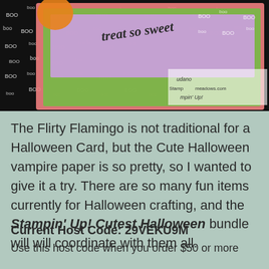[Figure (photo): Close-up photo of a Halloween craft card featuring black paper with white 'BOO' text pattern, colorful layered card elements in pink, green, purple with text 'treat so sweet', and a watermark with website stampwithmeadows.com and Stampin' Up!]
The Flirty Flamingo is not traditional for a Halloween Card, but the Cute Halloween vampire paper is so pretty, so I wanted to give it a try. There are so many fun items currently for Halloween crafting, and the Stampin' Up! Cutest Halloween bundle will will coordinate with them all.
Current Host Code: 29VEKU9M
Use this host code when you order $50 or more